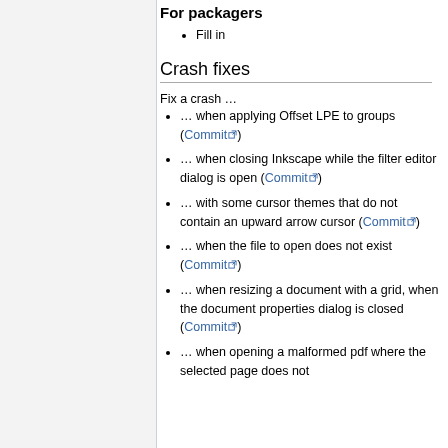For packagers
Fill in
Crash fixes
Fix a crash …
… when applying Offset LPE to groups (Commit)
… when closing Inkscape while the filter editor dialog is open (Commit)
… with some cursor themes that do not contain an upward arrow cursor (Commit)
… when the file to open does not exist (Commit)
… when resizing a document with a grid, when the document properties dialog is closed (Commit)
… when opening a malformed pdf where the selected page does not